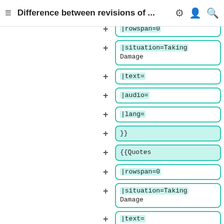≡  Difference between revisions of ...  ⚙  👤  🔍
+ |rowspan=0
+ |situation=Taking Damage
+ |text=
+ |audio=
+ |lang=
+ }}
+ {{Quotes
+ |rowspan=0
+ |situation=Taking Damage
+ |text=